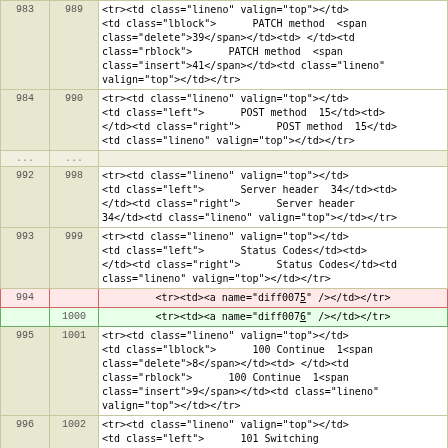| 983 | 989 | code |
| --- | --- | --- |
| 983 | 989 | <tr><td class="lineno" valign="top"></td><td class="lblock">      PATCH method  <span class="delete">39</span></td><td> </td><td class="rblock">      PATCH method  <span class="insert">41</span></td><td class="lineno" valign="top"></td></tr> |
| 984 | 990 | <tr><td class="lineno" valign="top"></td><td class="left">      POST method  15</td><td></td><td class="right">      POST method  15</td><td class="lineno" valign="top"></td></tr> |
| ... | ... |  |
| 992 | 998 | <tr><td class="lineno" valign="top"></td><td class="left">      Server header  34</td><td></td><td class="right">      Server header  34</td><td class="lineno" valign="top"></td></tr> |
| 993 | 999 | <tr><td class="lineno" valign="top"></td><td class="left">      Status Codes</td><td></td><td class="right">      Status Codes</td><td class="lineno" valign="top"></td></tr> |
| 994 |  | <tr><td><a name="diff0075" /></td></tr> |
|  | 1000 | <tr><td><a name="diff0076" /></td></tr> |
| 995 | 1001 | <tr><td class="lineno" valign="top"></td><td class="lblock">      100 Continue  1<span class="delete">8</span></td><td> </td><td class="rblock">      100 Continue  1<span class="insert">9</span></td><td class="lineno" valign="top"></td></tr> |
| 996 | 1002 | <tr><td class="lineno" valign="top"></td><td class="left">      101 Switching Protocols  19</td><td></td><td class="right">      101 Switching Protocols  19</td><td class="lineno" valign="top"></td></tr> |
| 997 | 1003 | <tr><td class="lineno" valign="top"></td><td class="left">      200 OK  19</td><td></td><td class="right">      200 OK  19</td><td class="lineno" valign="top"></td></tr> |